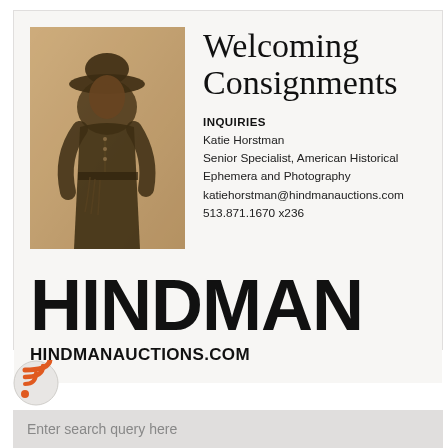[Figure (photo): Historical sepia-tone photograph of an African American soldier in uniform with a wide-brimmed hat, standing in a formal portrait pose]
Welcoming Consignments
INQUIRIES
Katie Horstman
Senior Specialist, American Historical Ephemera and Photography
katiehorstman@hindmanauctions.com
513.871.1670 x236
HINDMAN
HINDMANAUCTIONS.COM
[Figure (logo): RSS feed icon - orange circle with white WiFi/RSS signal waves]
Enter search query here